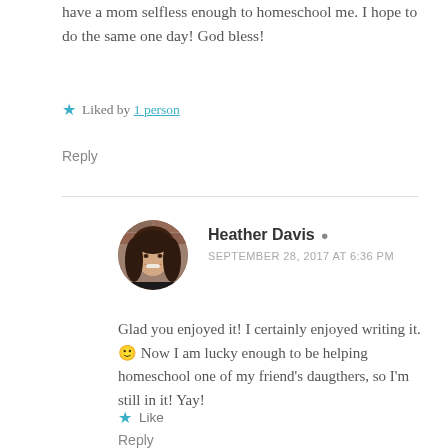have a mom selfless enough to homeschool me. I hope to do the same one day! God bless!
Liked by 1 person
Reply
[Figure (photo): Circular avatar photo of Heather Davis, a woman with long brown hair, smiling, wearing a black top against a brick wall background.]
Heather Davis
SEPTEMBER 28, 2017 AT 6:36 PM
Glad you enjoyed it! I certainly enjoyed writing it. 🙂 Now I am lucky enough to be helping homeschool one of my friend's daugthers, so I'm still in it! Yay!
Like
Reply